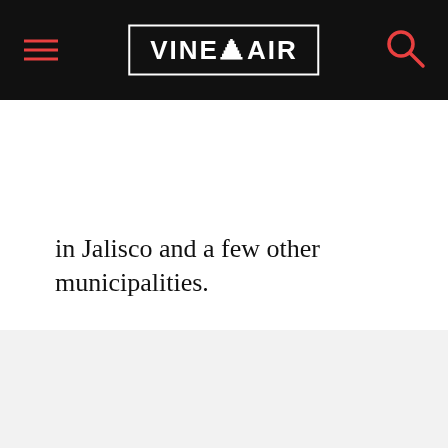VinePair
in Jalisco and a few other municipalities.